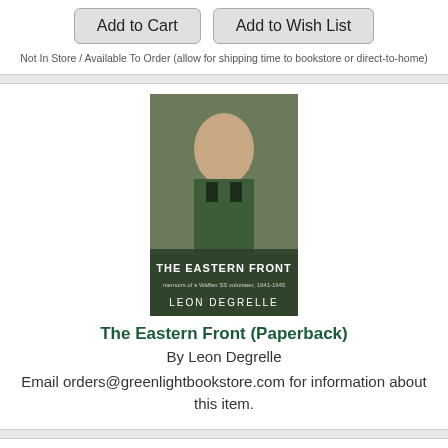Add to Cart  Add to Wish List
Not In Store / Available To Order (allow for shipping time to bookstore or direct-to-home)
[Figure (photo): Book cover of 'The Eastern Front' by Leon Degrelle, showing a WWII soldier in green uniform]
The Eastern Front (Paperback)
By Leon Degrelle
Email orders@greenlightbookstore.com for information about this item.
[Figure (photo): Partial book cover of 'First They Killed My Father', showing a young girl holding a sign]